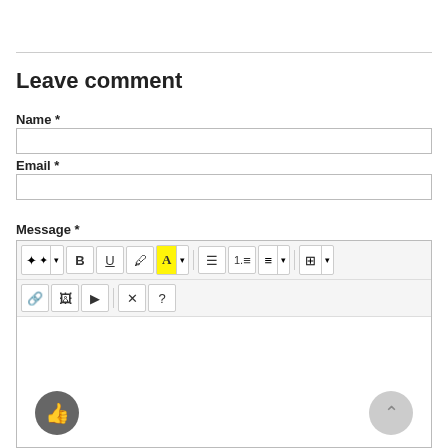Leave comment
Name *
Email *
Message *
[Figure (screenshot): Comment form with toolbar for rich text editing containing bold, underline, font color, list, alignment, table buttons and link/image/video/remove/help buttons]